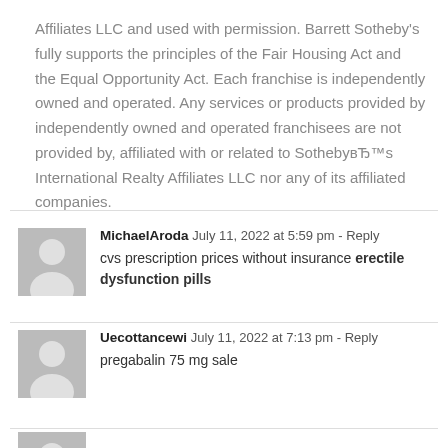Affiliates LLC and used with permission. Barrett Sotheby’s fully supports the principles of the Fair Housing Act and the Equal Opportunity Act. Each franchise is independently owned and operated. Any services or products provided by independently owned and operated franchisees are not provided by, affiliated with or related to Sotheby’s International Realty Affiliates LLC nor any of its affiliated companies.
MichaelAroda   July 11, 2022 at 5:59 pm - Reply
cvs prescription prices without insurance erectile dysfunction pills
Uecottancewi   July 11, 2022 at 7:13 pm - Reply
pregabalin 75 mg sale
Partial comment entry visible at bottom